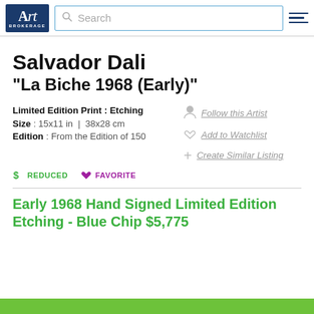Art Brokerage | Search
Salvador Dali
"La Biche 1968 (Early)"
Limited Edition Print : Etching
Size : 15x11 in | 38x28 cm
Edition : From the Edition of 150
Follow this Artist
Add to Watchlist
Create Similar Listing
REDUCED   FAVORITE
Early 1968 Hand Signed Limited Edition Etching - Blue Chip $5,775